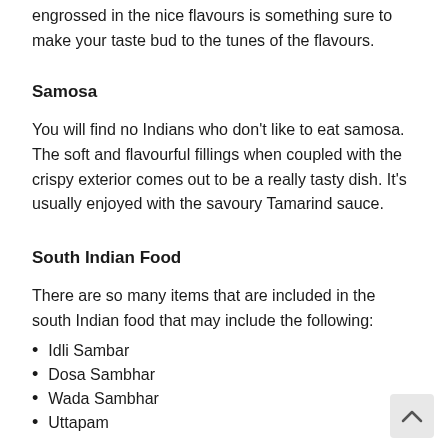engrossed in the nice flavours is something sure to make your taste bud to the tunes of the flavours.
Samosa
You will find no Indians who don't like to eat samosa. The soft and flavourful fillings when coupled with the crispy exterior comes out to be a really tasty dish. It's usually enjoyed with the savoury Tamarind sauce.
South Indian Food
There are so many items that are included in the south Indian food that may include the following:
Idli Sambar
Dosa Sambhar
Wada Sambhar
Uttapam
Kebabs
Earlier these used to come in the non-vegetarian version only.